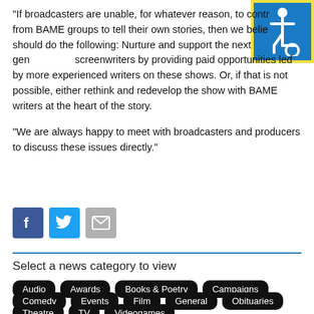“If broadcasters are unable, for whatever reason, to contract from BAME groups to tell their own stories, then we believe should do the following: Nurture and support the next generation of screenwriters by providing paid opportunities led by more experienced writers on these shows. Or, if that is not possible, either rethink and redevelop the show with BAME writers at the heart of the story.
“We are always happy to meet with broadcasters and producers to discuss these issues directly.”
[Figure (logo): Accessibility icon: white wheelchair symbol on blue background with yellow border]
[Figure (infographic): Social media sharing icons: Facebook (blue), Twitter (light blue), Email (grey)]
Select a news category to view
Audio
Awards
Books & Poetry
Campaigns
Comedy
Events
Film
General
Obituaries
Theatre
TV
Videogames